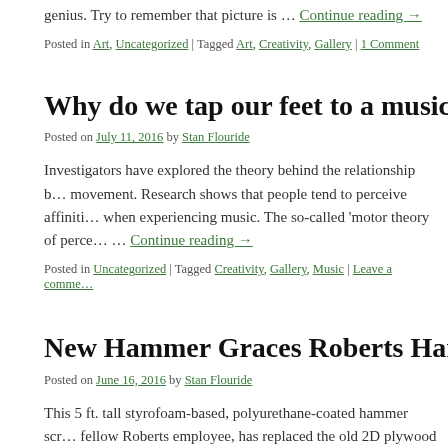genius. Try to remember that picture is … Continue reading →
Posted in Art, Uncategorized | Tagged Art, Creativity, Gallery | 1 Comment
Why do we tap our feet to a musical beat?
Posted on July 11, 2016 by Stan Flouride
Investigators have explored the theory behind the relationship between music and movement. Research shows that people tend to perceive affinities when experiencing music. The so-called 'motor theory of perce… … Continue reading →
Posted in Uncategorized | Tagged Creativity, Gallery, Music | Leave a comment
New Hammer Graces Roberts Hardware
Posted on June 16, 2016 by Stan Flouride
This 5 ft. tall styrofoam-based, polyurethane-coated hammer scr… fellow Roberts employee, has replaced the old 2D plywood one…